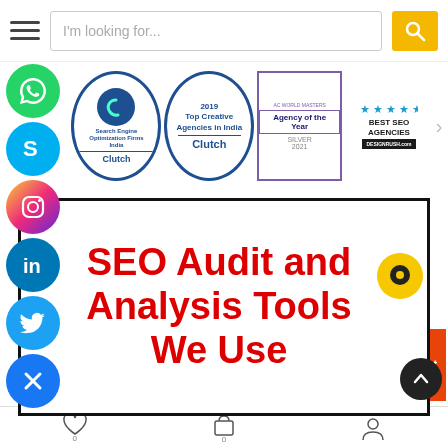[Figure (screenshot): Website navigation bar with hamburger menu, search input placeholder 'I'm looking for...', and yellow search button with magnifying glass icon]
[Figure (infographic): Awards strip showing Clutch badges: Search Engine Optimization Firms India, 2019 Top Creative Agencies in India, Agency of the Year Silver 2021, Best SEO Agencies DesignRush.com with 5 stars]
[Figure (infographic): Social media icons floating on left: WhatsApp (green), Skype (blue), Instagram (gradient), LinkedIn (blue), Twitter (blue), Close X (blue)]
SEO Audit and Analysis Tools We Use
[Figure (infographic): SEO tools logos: Screaming Frog, mystery tool with wizard hat, SEO PowerSuite, Ubersuggest]
[Figure (infographic): Bottom navigation bar with wishlist (heart with 0), cart (bag with 0), and user account icons. Scroll to top button (dark circle with up arrow).]